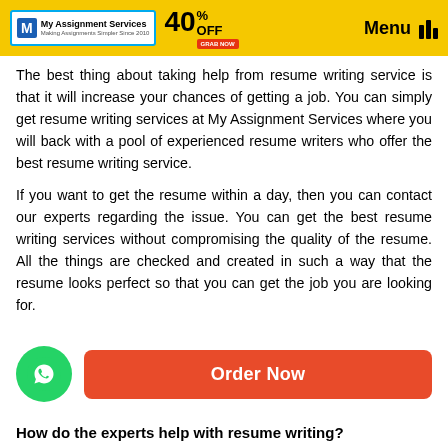My Assignment Services — Making Assignments Simpler Since 2010 | 40% OFF | Menu
The best thing about taking help from resume writing service is that it will increase your chances of getting a job. You can simply get resume writing services at My Assignment Services where you will back with a pool of experienced resume writers who offer the best resume writing service.
If you want to get the resume within a day, then you can contact our experts regarding the issue. You can get the best resume writing services without compromising the quality of the resume. All the things are checked and created in such a way that the resume looks perfect so that you can get the job you are looking for.
How do the experts help with resume writing?